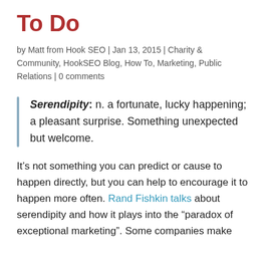To Do
by Matt from Hook SEO | Jan 13, 2015 | Charity & Community, HookSEO Blog, How To, Marketing, Public Relations | 0 comments
Serendipity: n. a fortunate, lucky happening; a pleasant surprise. Something unexpected but welcome.
It's not something you can predict or cause to happen directly, but you can help to encourage it to happen more often. Rand Fishkin talks about serendipity and how it plays into the "paradox of exceptional marketing". Some companies make